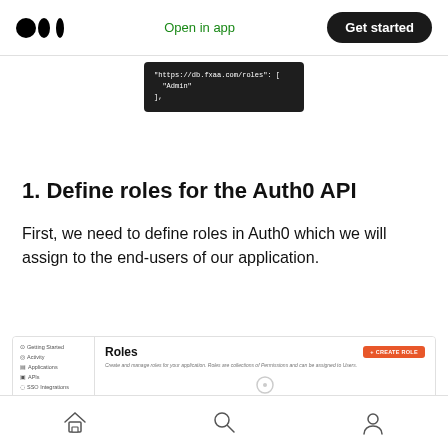Medium logo | Open in app | Get started
[Figure (screenshot): Dark code snippet showing JSON with 'https://db.fxaa.com/roles': ['Admin'] and closing brace]
1. Define roles for the Auth0 API
First, we need to define roles in Auth0 which we will assign to the end-users of our application.
[Figure (screenshot): Auth0 dashboard screenshot showing Roles page with sidebar navigation including Getting Started, Activity, Applications, APIs, SSO Integrations, Connections, Universal Login, Users & Roles (highlighted in orange), and Users. Main area shows Roles title, + CREATE ROLE orange button, description text, and empty state icon.]
Home | Search | Profile icons